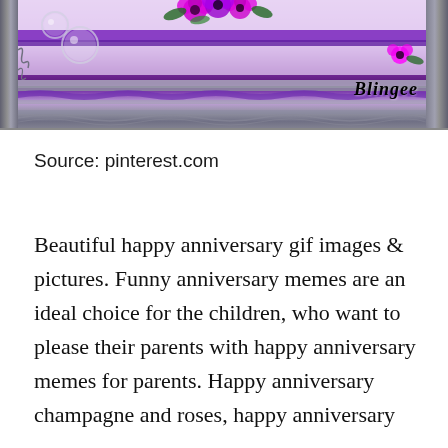[Figure (illustration): A decorative Blingee-style frame with purple and silver ornate borders, magenta/purple flowers at the top, bubbles/circles on the left side, floral decorations, and the 'Blingee' logo in the bottom right corner. The inner area has a light lavender/pink background.]
Source: pinterest.com
Beautiful happy anniversary gif images & pictures. Funny anniversary memes are an ideal choice for the children, who want to please their parents with happy anniversary memes for parents. Happy anniversary champagne and roses, happy anniversary